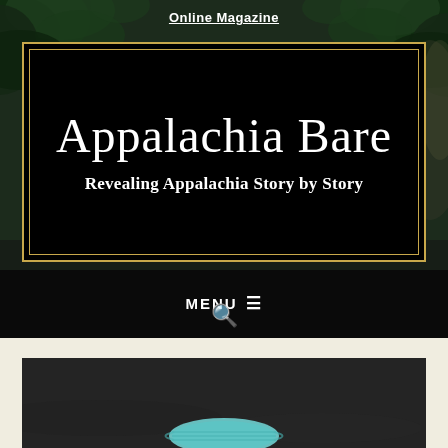Online Magazine
Appalachia Bare
Revealing Appalachia Story by Story
MENU ☰
[Figure (photo): A photo of a teal/mint colored face mask lying on a dark ground, partially visible at the bottom of the page.]